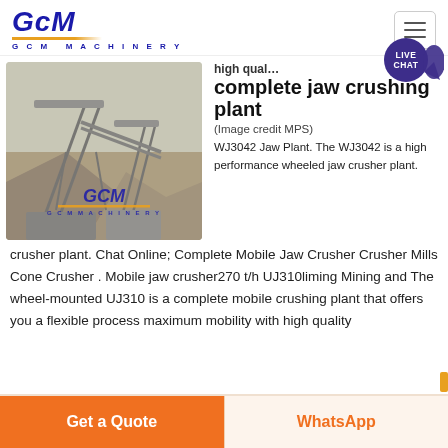[Figure (logo): GCM Machinery logo with blue italic text and gold underline]
[Figure (photo): Industrial jaw crushing plant site with conveyor belts and gravel piles, GCM Machinery watermark]
high qual… complete jaw crushing plant
(Image credit MPS)
WJ3042 Jaw Plant. The WJ3042 is a high performance wheeled jaw crusher plant. Chat Online; Complete Mobile Jaw Crusher Crusher Mills Cone Crusher . Mobile jaw crusher270 t/h UJ310liming Mining and The wheel-mounted UJ310 is a complete mobile crushing plant that offers you a flexible process maximum mobility with high quality
Get a Quote
WhatsApp